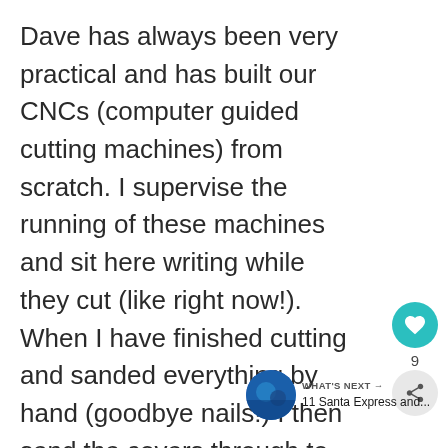Dave has always been very practical and has built our CNCs (computer guided cutting machines) from scratch. I supervise the running of these machines and sit here writing while they cut (like right now!). When I have finished cutting and sanded everything by hand (goodbye nails!) I then send the covers through to the other workshop to be painted and